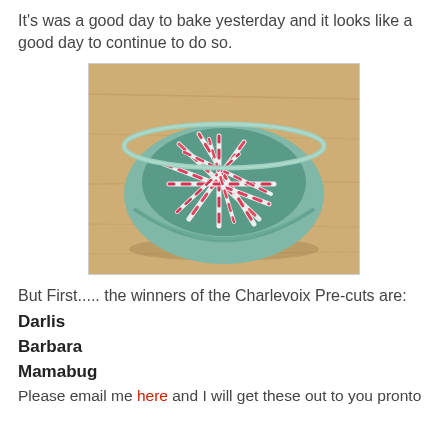It's was a good day to bake yesterday and it looks like a good day to continue to do so.
[Figure (photo): A teal/green ceramic bowl filled with red and white striped candy canes, sitting on a wooden cutting board surface.]
But First..... the winners of the Charlevoix Pre-cuts are:
Darlis
Barbara
Mamabug
Please email me here and I will get these out to you pronto